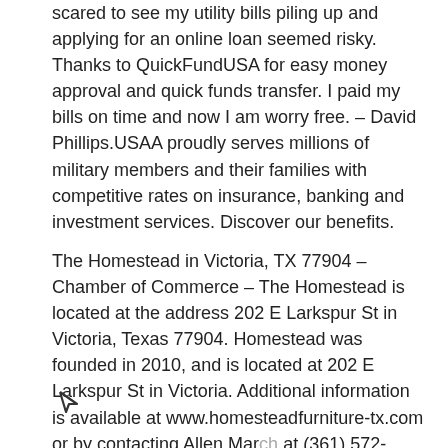scared to see my utility bills piling up and applying for an online loan seemed risky. Thanks to QuickFundUSA for easy money approval and quick funds transfer. I paid my bills on time and now I am worry free. – David Phillips.USAA proudly serves millions of military members and their families with competitive rates on insurance, banking and investment services. Discover our benefits.
The Homestead in Victoria, TX 77904 – Chamber of Commerce – The Homestead is located at the address 202 E Larkspur St in Victoria, Texas 77904. Homestead was founded in 2010, and is located at 202 E Larkspur St in Victoria. Additional information is available at www.homesteadfurniture-tx.com or by contacting Allen March at (361) 572-9666. Schreiner purchased full control of the firm in 1887 and Lytle became general manager of the American Cattle Syndicate's Texas...